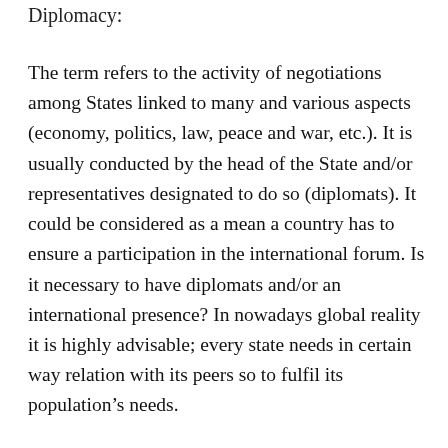Diplomacy:
The term refers to the activity of negotiations among States linked to many and various aspects (economy, politics, law, peace and war, etc.). It is usually conducted by the head of the State and/or representatives designated to do so (diplomats). It could be considered as a mean a country has to ensure a participation in the international forum. Is it necessary to have diplomats and/or an international presence? In nowadays global reality it is highly advisable; every state needs in certain way relation with its peers so to fulfil its population’s needs.